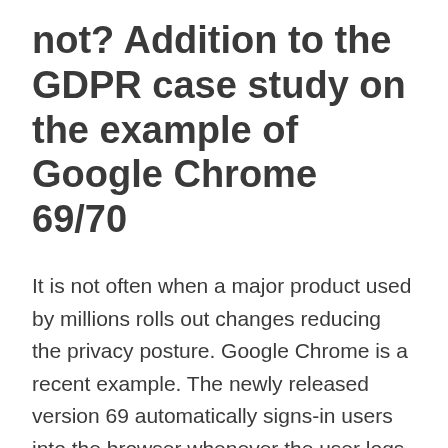not? Addition to the GDPR case study on the example of Google Chrome 69/70
It is not often when a major product used by millions rolls out changes reducing the privacy posture. Google Chrome is a recent example. The newly released version 69 automatically signs-in users into the browser whenever the user logs into a Google Service (e.g. Gmail); the change also makes